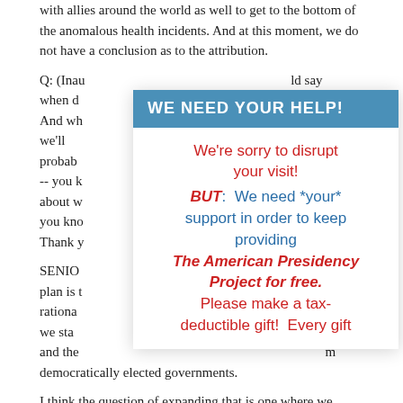with allies around the world as well to get to the bottom of the anomalous health incidents. And at this moment, we do not have a conclusion as to the attribution.
Q: (Inau... would say when d... out. And wh... es we'll probably... w, this -- you k... little bit about w... invite; you kno... d? Thank y...
SENIOR... the plan is t... ne rationa... -- but we sta... harter and the... m democratically elected governments.
[Figure (infographic): Overlay popup with blue header 'WE NEED YOUR HELP!' and body text in red and blue: 'We’re sorry to disrupt your visit! BUT: We need *your* support in order to keep providing The American Presidency Project for free. Please make a tax-deductible gift! Every gift']
I think the question of expanding that is one where we consult with our partners in the region. We have these debates about